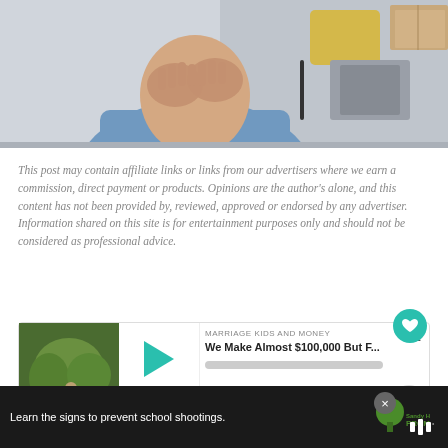[Figure (photo): A person in a blue sweater with hands covering their face, sitting with boxes in the background]
This post may contain affiliate links or links from our advertisers where we earn a commission, direct payment or products. Opinions are the author's alone, and this content has not been provided by, reviewed, approved or endorsed by any advertiser. Information shared on this site is for entertainment purposes only and should not be considered as professional advice.
[Figure (screenshot): Podcast player for 'Marriage Kids and Money' showing episode 'We Make Almost $100,000 But F...' with play button, progress bar, timestamp 00:00:00, and controls for 30-second skip, RSS, download, and embed. Heart button and share button visible. Number 42 shown.]
[Figure (screenshot): Ad banner with dark background reading 'Learn the signs to prevent school shootings.' with Sandy Hook Promise logo.]